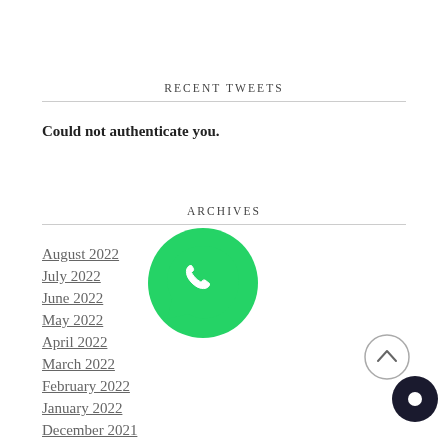RECENT TWEETS
Could not authenticate you.
[Figure (logo): WhatsApp icon - green circle with white phone handset speech bubble]
ARCHIVES
August 2022
July 2022
June 2022
May 2022
April 2022
March 2022
February 2022
January 2022
December 2021
[Figure (other): Scroll-to-top arrow button circle]
[Figure (other): Dark chat/message button circle]